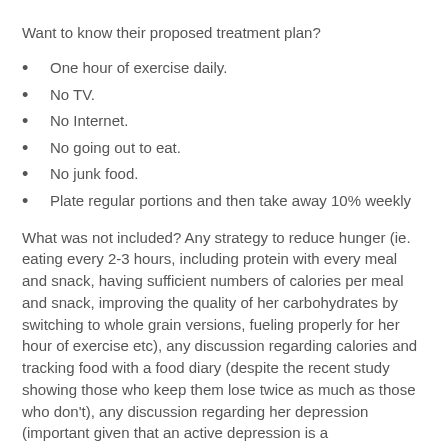Want to know their proposed treatment plan?
One hour of exercise daily.
No TV.
No Internet.
No going out to eat.
No junk food.
Plate regular portions and then take away 10% weekly
What was not included? Any strategy to reduce hunger (ie. eating every 2-3 hours, including protein with every meal and snack, having sufficient numbers of calories per meal and snack, improving the quality of her carbohydrates by switching to whole grain versions, fueling properly for her hour of exercise etc), any discussion regarding calories and tracking food with a food diary (despite the recent study showing those who keep them lose twice as much as those who don't), any discussion regarding her depression (important given that an active depression is a contraindication to initiating an effort of intentional weight